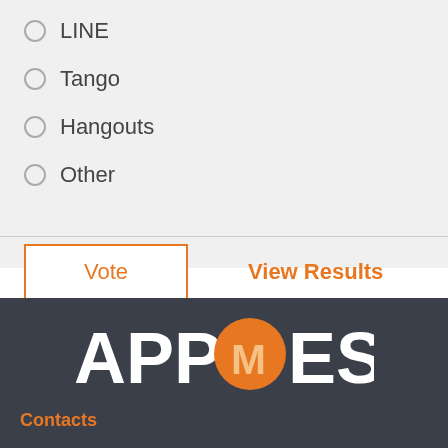LINE
Tango
Hangouts
Other
Vote
View Results
[Figure (logo): AppMess logo with orange speech bubble containing white M letter, white bold text reading APPMESS]
Contacts